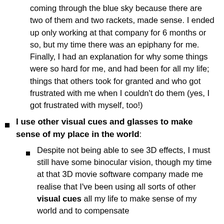coming through the blue sky because there are two of them and two rackets, made sense. I ended up only working at that company for 6 months or so, but my time there was an epiphany for me. Finally, I had an explanation for why some things were so hard for me, and had been for all my life; things that others took for granted and who got frustrated with me when I couldn't do them (yes, I got frustrated with myself, too!)
I use other visual cues and glasses to make sense of my place in the world:
Despite not being able to see 3D effects, I must still have some binocular vision, though my time at that 3D movie software company made me realise that I've been using all sorts of other visual cues all my life to make sense of my world and to compensate